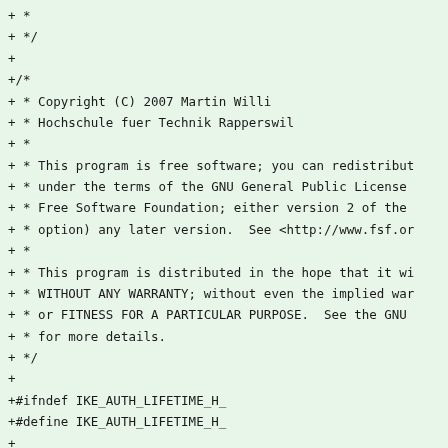+ *
+ */
+
+/*
+ * Copyright (C) 2007 Martin Willi
+ * Hochschule fuer Technik Rapperswil
+ *
+ * This program is free software; you can redistribut
+ * under the terms of the GNU General Public License
+ * Free Software Foundation; either version 2 of the
+ * option) any later version.  See <http://www.fsf.or
+ *
+ * This program is distributed in the hope that it wi
+ * WITHOUT ANY WARRANTY; without even the implied war
+ * or FITNESS FOR A PARTICULAR PURPOSE.  See the GNU
+ * for more details.
+ */
+
+#ifndef IKE_AUTH_LIFETIME_H_
+#define IKE_AUTH_LIFETIME_H_
+
+typedef struct ike_auth_lifetime_t ike_auth_lifetime_
+
+#include <library.h>
+#include <sa/ike_sa.h>